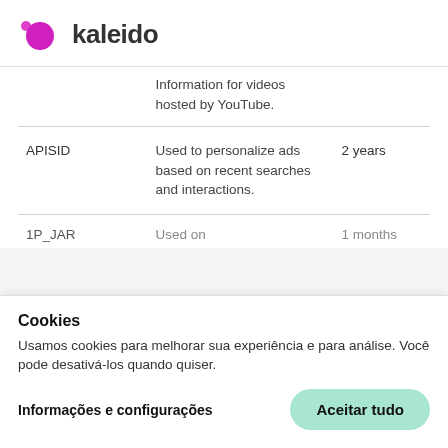kaleido
| Name | Description | Duration |
| --- | --- | --- |
|  | Information for videos hosted by YouTube. |  |
| APISID | Used to personalize ads based on recent searches and interactions. | 2 years |
| 1P_JAR | Used on... | 1 months |
Cookies
Usamos cookies para melhorar sua experiência e para análise. Você pode desativá-los quando quiser.
Informações e configurações
Aceitar tudo